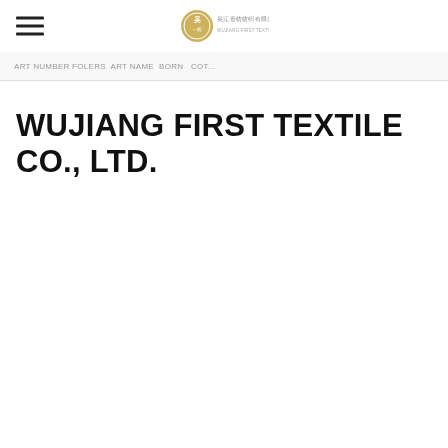Wujiang First Textile Co., Ltd. — Logo and navigation header
ART NUMBER FOLERS ART NAME BORN COT...
WUJIANG FIRST TEXTILE CO., LTD.